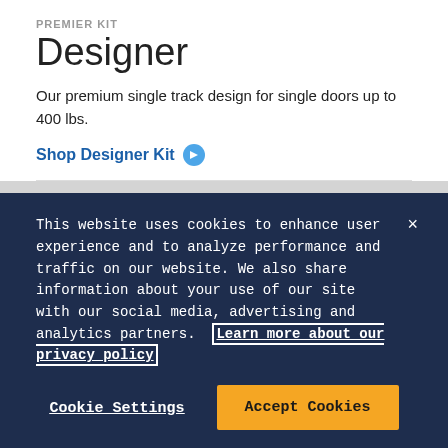PREMIER KIT
Designer
Our premium single track design for single doors up to 400 lbs.
Shop Designer Kit →
[Figure (photo): Product photo showing a sliding door hardware track on a gray wall background]
This website uses cookies to enhance user experience and to analyze performance and traffic on our website. We also share information about your use of our site with our social media, advertising and analytics partners. Learn more about our privacy policy
Cookie Settings
Accept Cookies